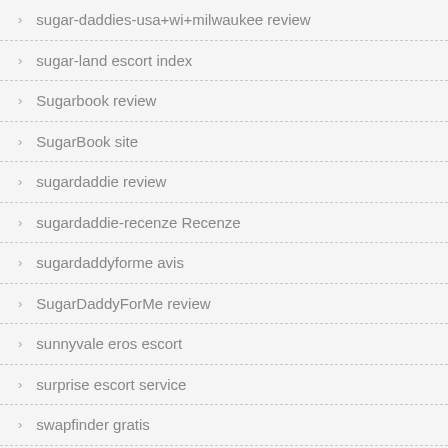sugar-daddies-usa+wi+milwaukee review
sugar-land escort index
Sugarbook review
SugarBook site
sugardaddie review
sugardaddie-recenze Recenze
sugardaddyforme avis
SugarDaddyForMe review
sunnyvale eros escort
surprise escort service
swapfinder gratis
swapfinder visitors